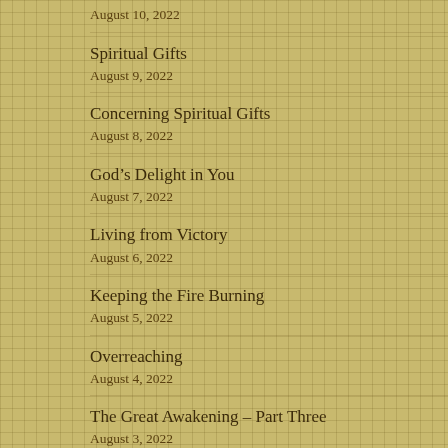August 10, 2022
Spiritual Gifts
August 9, 2022
Concerning Spiritual Gifts
August 8, 2022
God’s Delight in You
August 7, 2022
Living from Victory
August 6, 2022
Keeping the Fire Burning
August 5, 2022
Overreaching
August 4, 2022
The Great Awakening – Part Three
August 3, 2022
The Great Awakening – Part Two
August 2, 2022